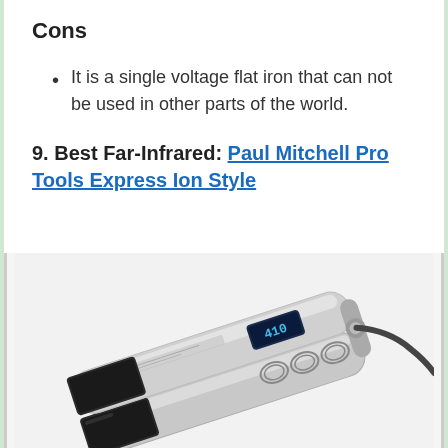Cons
It is a single voltage flat iron that can not be used in other parts of the world.
9. Best Far-Infrared: Paul Mitchell Pro Tools Express Ion Style
[Figure (photo): Paul Mitchell Pro Tools Express Ion Style flat iron hair straightener, silver colored with digital display showing 410, and control buttons on the handle.]